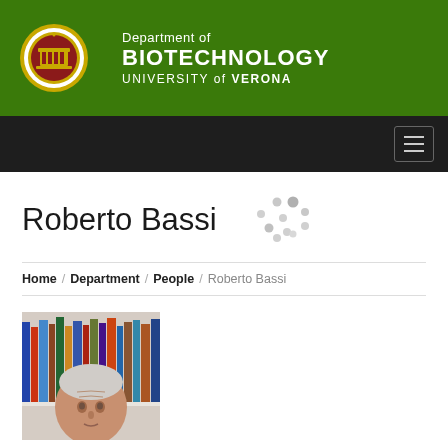[Figure (logo): Department of Biotechnology, University of Verona logo with university seal on green banner]
[Figure (other): Navigation bar with hamburger menu icon on dark background]
Roberto Bassi
[Figure (other): Loading spinner dots graphic]
Home / Department / People / Roberto Bassi
[Figure (photo): Portrait photo of Roberto Bassi, an older man in front of a bookshelf]